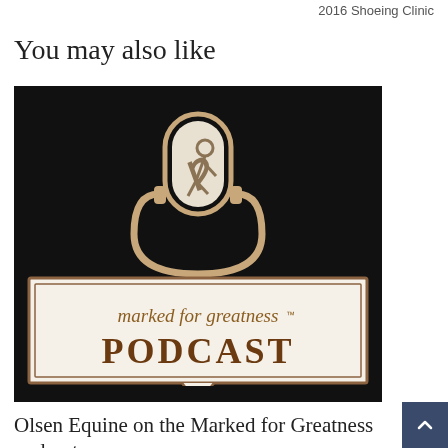2016 Shoeing Clinic
You may also like
[Figure (logo): Marked for Greatness Podcast logo: a stylized microphone on a black background with a white speech-bubble banner reading 'marked for greatness PODCAST' in gold/brown script and serif lettering.]
Olsen Equine on the Marked for Greatness podcast